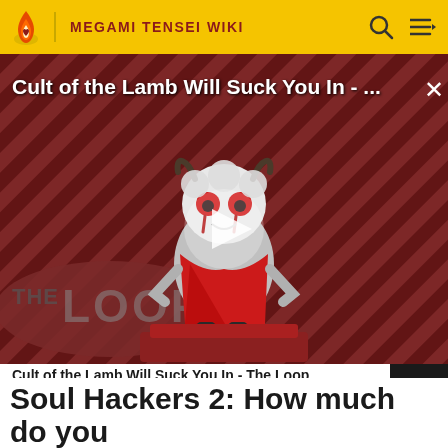MEGAMI TENSEI WIKI
[Figure (screenshot): Video thumbnail for 'Cult of the Lamb Will Suck You In - The Loop' showing a cartoon lamb character on a red-striped background with a play button overlay and 'THE LOOP' text badge at bottom left]
Cult of the Lamb Will Suck You In - The Loop
[Figure (screenshot): Next video strip showing a character from Soul Hackers 2 with a purple quiz badge on the right]
FANDOM TRIVIA
Soul Hackers 2: How much do you